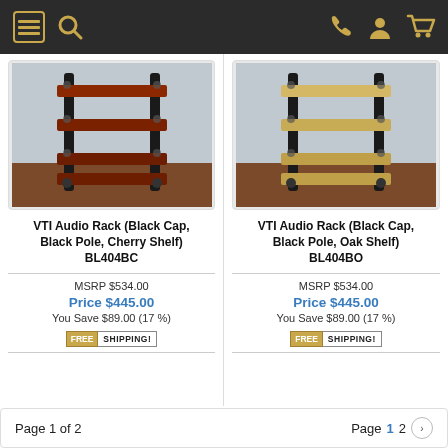Navigation bar with menu, search, phone, account, and cart icons
[Figure (photo): VTI Audio Rack with black cap, black pole, and cherry wood shelves - 4-shelf audio rack unit]
VTI Audio Rack (Black Cap, Black Pole, Cherry Shelf) BL404BC
MSRP $534.00
Price $445.00
You Save $89.00 (17 %)
[Figure (infographic): FREE SHIPPING! badge]
[Figure (photo): VTI Audio Rack with black cap, black pole, and oak shelves - 4-shelf audio rack unit]
VTI Audio Rack (Black Cap, Black Pole, Oak Shelf) BL404BO
MSRP $534.00
Price $445.00
You Save $89.00 (17 %)
[Figure (infographic): FREE SHIPPING! badge]
Page 1 of 2    Page 1 2 >